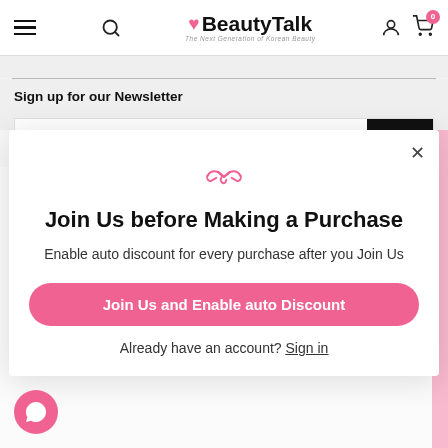BeautyTalk - The Next Generation of Korean Beauty
Sign up for our Newsletter
Your email address
Join Us before Making a Purchase
Enable auto discount for every purchase after you Join Us
Join Us and Enable auto Discount
Already have an account? Sign in